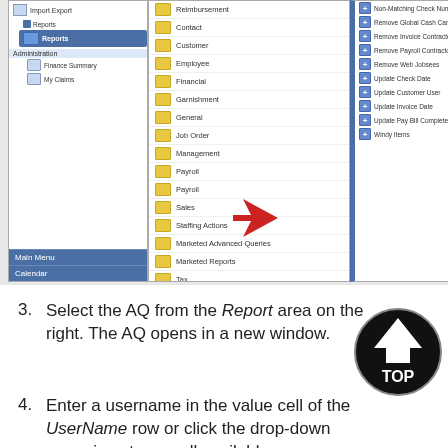[Figure (screenshot): Software interface showing left navigation panel with items including Report selected in blue, middle panel listing menu items (Reimbursement, Contact, Customer, Employee, Financial, Garnishment, General, Job Order, Management, Payroll, Payroll, Sales, Staffing Actions, Marketed Advanced Queries, Marketed Reports, Tax, Time Entry, Self Service Utilities with red arrow pointing to it, Market Comp), right panel with plus-icon list items (Non-Matching Check Number, Remove Global Cash Card Error, Remove Invoice Contractor, Remove Payroll Contractors, Remove Web Jobsees, Update Check Date, Update Customer User, Update Invoice Date, Update Pay Bill Complete, Windy Items), bottom left shows Main Menu and Calendar buttons in blue.]
3. Select the AQ from the Report area on the right. The AQ opens in a new window.
[Figure (logo): Black and white circular TOP badge/logo with triangular arrow pointing up and the word TOP]
4. Enter a username in the value cell of the UserName row or click the drop-down menu icon to see all available users.